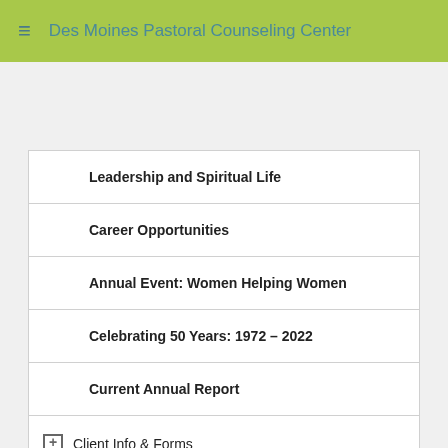Des Moines Pastoral Counseling Center
Post Comment
Leadership and Spiritual Life
Career Opportunities
Annual Event: Women Helping Women
Celebrating 50 Years: 1972 – 2022
Current Annual Report
Client Info & Forms
Classes & Events